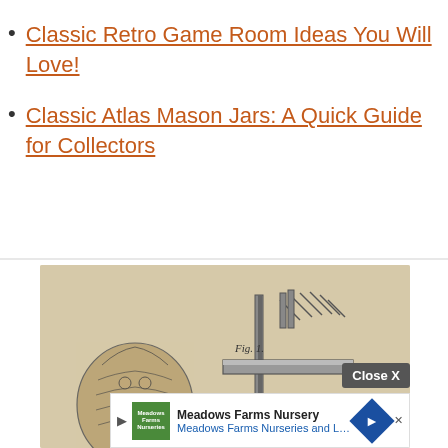Classic Retro Game Room Ideas You Will Love!
Classic Atlas Mason Jars: A Quick Guide for Collectors
[Figure (engineering-diagram): Vintage engineering/patent diagram showing a figure labeled 'Fig. 1.' depicting a mechanical component with horizontal bars/shelves and what appears to be a head or cylindrical object on the left side. Sepia/beige toned antique illustration.]
Close X
Meadows Farms Nursery — Meadows Farms Nurseries and Landsca...